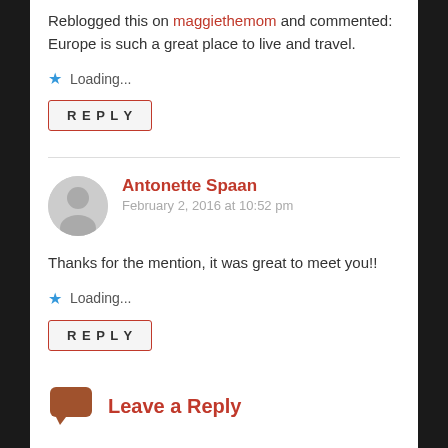Reblogged this on maggiethemom and commented: Europe is such a great place to live and travel.
Loading...
REPLY
Antonette Spaan
February 2, 2016 at 10:52 pm
Thanks for the mention, it was great to meet you!!
Loading...
REPLY
Leave a Reply